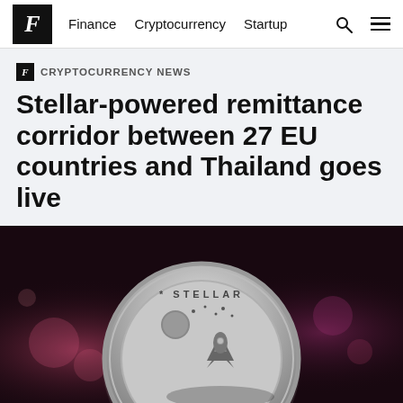F  Finance  Cryptocurrency  Startup
CRYPTOCURRENCY NEWS
Stellar-powered remittance corridor between 27 EU countries and Thailand goes live
[Figure (photo): Close-up of a silver Stellar cryptocurrency coin with rocket logo and stars on a dark purple/pink bokeh background]